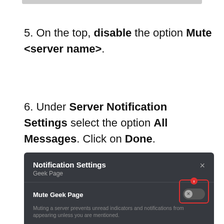[Figure (screenshot): Partial screenshot showing a gray bar at the top of the page]
5. On the top, disable the option Mute <server name>.
6. Under Server Notification Settings select the option All Messages. Click on Done.
[Figure (screenshot): Discord Notification Settings panel for Geek Page, showing Mute Geek Page toggle in off position with red highlight box and badge, and description text about muting a server.]